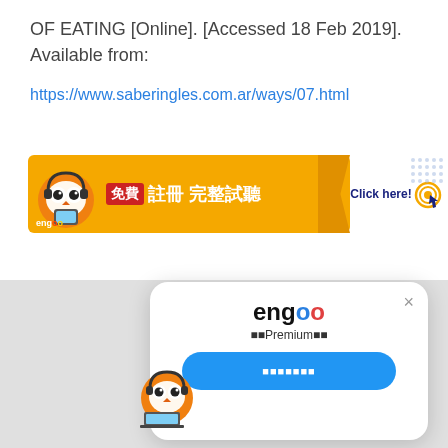OF EATING [Online]. [Accessed 18 Feb 2019]. Available from:
https://www.saberingles.com.ar/ways/07.html
[Figure (illustration): Engoo advertisement banner in orange with mascot owl, Chinese text '免費 註冊 完整試聽' and 'Click here!' button with cursor icon]
[Figure (illustration): Engoo popup overlay showing mascot owl, engoo logo, Premium text, and a blue call-to-action button]